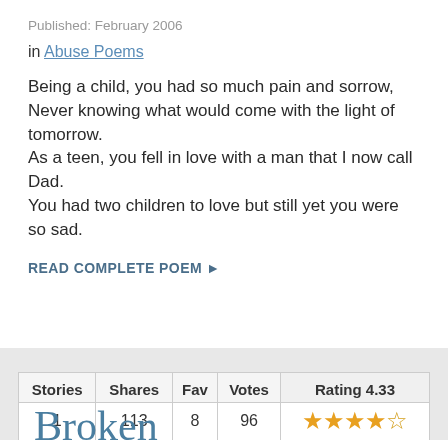Published: February 2006
in Abuse Poems
Being a child, you had so much pain and sorrow,
Never knowing what would come with the light of tomorrow.
As a teen, you fell in love with a man that I now call Dad.
You had two children to love but still yet you were so sad.
READ COMPLETE POEM ►
| Stories | Shares | Fav | Votes | Rating 4.33 |
| --- | --- | --- | --- | --- |
| 1 | 113 | 8 | 96 | ★★★★½ |
Broken